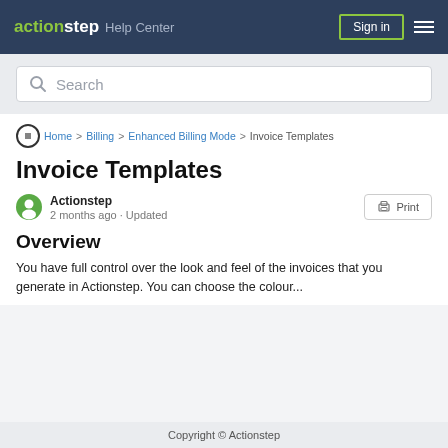actionstep Help Center | Sign in
Search
Home > Billing > Enhanced Billing Mode > Invoice Templates
Invoice Templates
Actionstep
2 months ago · Updated
Overview
You have full control over the look and feel of the invoices that you generate in Actionstep. You can choose the colour...
Copyright © Actionstep